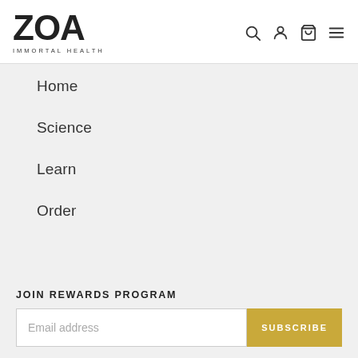ZOA IMMORTAL HEALTH
Home
Science
Learn
Order
JOIN REWARDS PROGRAM
Email address  SUBSCRIBE